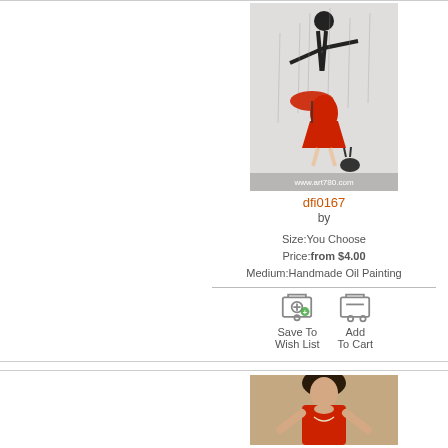[Figure (photo): Oil painting of a woman in a red dress with a red umbrella in the rain, black silhouette figure above, abstract style. Watermark: www.art780.com]
dfi0167
by
Size:You Choose
Price:from $4.00
Medium:Handmade Oil Painting
[Figure (illustration): Save To Wish List button with shopping cart icon]
[Figure (illustration): Add To Cart button with shopping cart icon]
[Figure (photo): Oil painting of a woman in a red dress, partial view at bottom of page]